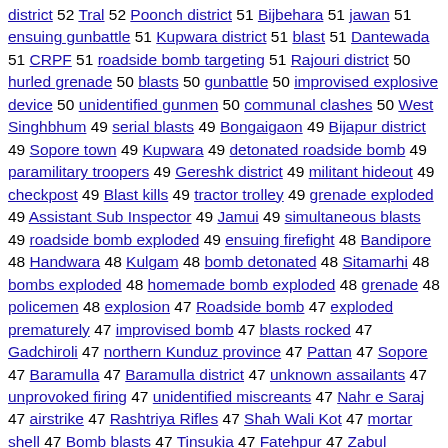district 52 Tral 52 Poonch district 51 Bijbehara 51 jawan 51 ensuing gunbattle 51 Kupwara district 51 blast 51 Dantewada 51 CRPF 51 roadside bomb targeting 51 Rajouri district 50 hurled grenade 50 blasts 50 gunbattle 50 improvised explosive device 50 unidentified gunmen 50 communal clashes 50 West Singhbhum 49 serial blasts 49 Bongaigaon 49 Bijapur district 49 Sopore town 49 Kupwara 49 detonated roadside bomb 49 paramilitary troopers 49 Gereshk district 49 militant hideout 49 checkpost 49 Blast kills 49 tractor trolley 49 grenade exploded 49 Assistant Sub Inspector 49 Jamui 49 simultaneous blasts 49 roadside bomb exploded 49 ensuing firefight 48 Bandipore 48 Handwara 48 Kulgam 48 bomb detonated 48 Sitamarhi 48 bombs exploded 48 homemade bomb exploded 48 grenade 48 policemen 48 explosion 47 Roadside bomb 47 exploded prematurely 47 improvised bomb 47 blasts rocked 47 Gadchiroli 47 northern Kunduz province 47 Pattan 47 Sopore 47 Baramulla 47 Baramulla district 47 unknown assailants 47 unprovoked firing 47 unidentified miscreants 47 Nahr e Saraj 47 airstrike 47 Rashtriya Rifles 47 Shah Wali Kot 47 mortar shell 47 Bomb blasts 47 Tinsukia 47 Fatehpur 47 Zabul province 47 rocket propelled grenade 47 fierce gunbattle 47 Unidentified gunmen 46 lobbed grenade 46 Miranshah 46 suicide bomber attacked 46 Andar district 46 Akhnoor 46 Farah province
Back to home page